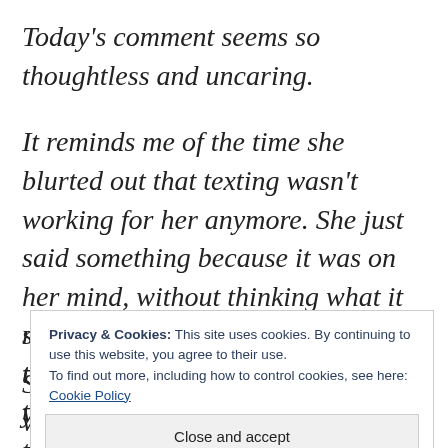Today's comment seems so thoughtless and uncaring.
It reminds me of the time she blurted out that texting wasn't working for her anymore. She just said something because it was on her mind, without thinking what it might mean to me to lose our texting relationship after three years. And today it seems she's thinking about how she'd like to give my s[...] t[...] t[...]
Privacy & Cookies: This site uses cookies. By continuing to use this website, you agree to their use. To find out more, including how to control cookies, see here: Cookie Policy
Close and accept
She's entitled to change the way we work; of course